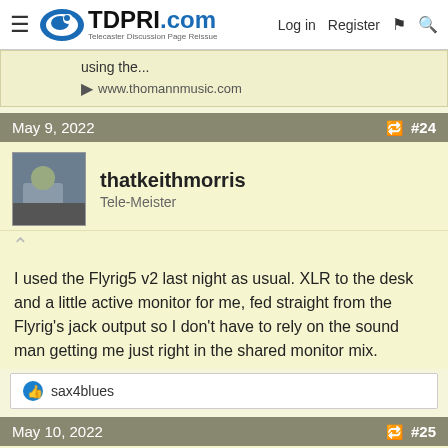TDPRI.com — Telecaster Discussion Page Reissue | Log in | Register
using the...
www.thomannmusic.com
May 9, 2022  #24
thatkeithmorris
Tele-Meister
I used the Flyrig5 v2 last night as usual. XLR to the desk and a little active monitor for me, fed straight from the Flyrig's jack output so I don't have to rely on the sound man getting me just right in the shared monitor mix.
sax4blues
May 10, 2022  #25
radiocaster
Poster Extraordinaire